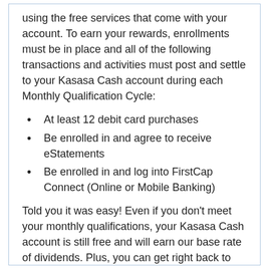using the free services that come with your account. To earn your rewards, enrollments must be in place and all of the following transactions and activities must post and settle to your Kasasa Cash account during each Monthly Qualification Cycle:
At least 12 debit card purchases
Be enrolled in and agree to receive eStatements
Be enrolled in and log into FirstCap Connect (Online or Mobile Banking)
Told you it was easy! Even if you don't meet your monthly qualifications, your Kasasa Cash account is still free and will earn our base rate of dividends. Plus, you can get right back to racking up rewards — like really high dividends and ATM fee refunds — the very next month.